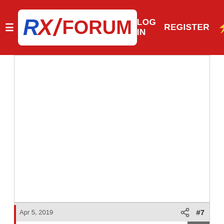RX FORUM — LOG IN   REGISTER
[Figure (screenshot): Large white advertisement/content area below header]
Apr 5, 2019
#7
AStravelers
Well-known member